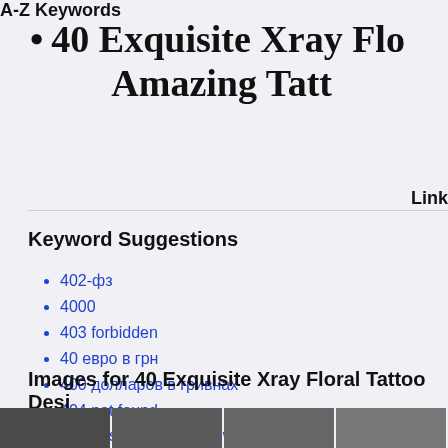• 40 Exquisite Xray Flo Amazing Tatt
A-Z Keywords
Link
Keyword Suggestions
402-фз
4000
403 forbidden
40 евро в грн
400 долларов в гривнах
404 not found
4000 essential english words 1
400 евро в грн
Images for 40 Exquisite Xray Floral Tattoo Desi
[Figure (photo): Thumbnail images strip at bottom of page showing tattoo photos]